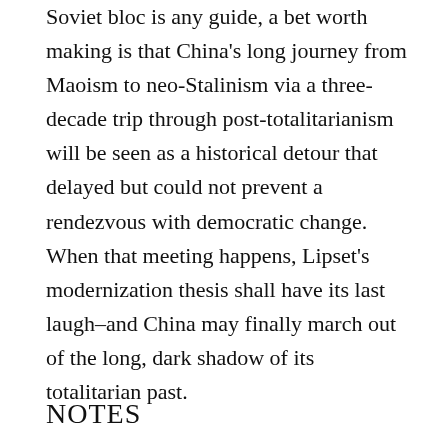Soviet bloc is any guide, a bet worth making is that China's long journey from Maoism to neo-Stalinism via a three-decade trip through post-totalitarianism will be seen as a historical detour that delayed but could not prevent a rendezvous with democratic change. When that meeting happens, Lipset's modernization thesis shall have its last laugh–and China may finally march out of the long, dark shadow of its totalitarian past.
NOTES